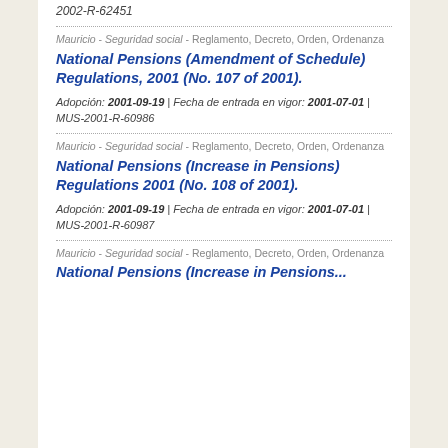2002-R-62451
Mauricio - Seguridad social - Reglamento, Decreto, Orden, Ordenanza
National Pensions (Amendment of Schedule) Regulations, 2001 (No. 107 of 2001).
Adopción: 2001-09-19 | Fecha de entrada en vigor: 2001-07-01 | MUS-2001-R-60986
Mauricio - Seguridad social - Reglamento, Decreto, Orden, Ordenanza
National Pensions (Increase in Pensions) Regulations 2001 (No. 108 of 2001).
Adopción: 2001-09-19 | Fecha de entrada en vigor: 2001-07-01 | MUS-2001-R-60987
Mauricio - Seguridad social - Reglamento, Decreto, Orden, Ordenanza